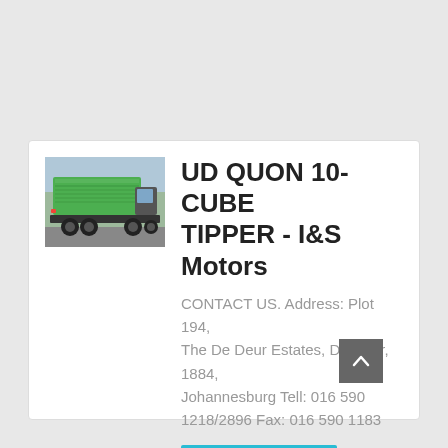[Figure (photo): A green tipper truck photographed from the rear-side, outdoors with trees in the background.]
UD QUON 10-CUBE TIPPER - I&S Motors
CONTACT US. Address: Plot 194, The De Deur Estates, De Deur, 1884, Johannesburg Tell: 016 590 1218/2896 Fax: 016 590 1183
learn More